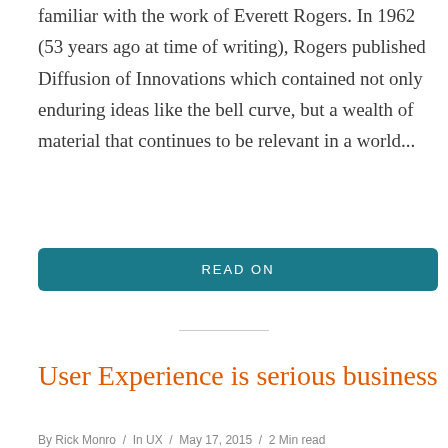familiar with the work of Everett Rogers. In 1962 (53 years ago at time of writing), Rogers published Diffusion of Innovations which contained not only enduring ideas like the bell curve, but a wealth of material that continues to be relevant in a world...
READ ON
User Experience is serious business
By Rick Monro / In UX / May 17, 2015 / 2 Min read